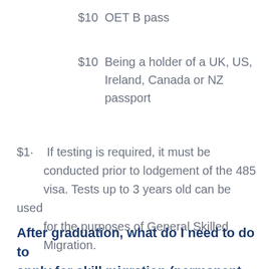$10  OET B pass
$10  Being a holder of a UK, US, Ireland, Canada or NZ passport
$1·    If testing is required, it must be conducted prior to lodgement of the 485 visa. Tests up to 3 years old can be used for the purposes of General Skilled Migration.
After graduation, what do I need to do to apply for skill migration (permanent